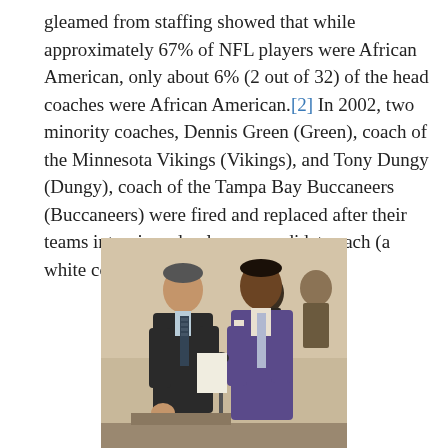gleamed from staffing showed that while approximately 67% of NFL players were African American, only about 6% (2 out of 32) of the head coaches were African American.[2] In 2002, two minority coaches, Dennis Green (Green), coach of the Minnesota Vikings (Vikings), and Tony Dungy (Dungy), coach of the Tampa Bay Buccaneers (Buccaneers) were fired and replaced after their teams interviewed only one candidate each (a white coach).[3]
[Figure (photo): Two men in suits standing together, one in a dark suit with a patterned tie holding an NFL football, another in a purple/blue suit with a light tie, in what appears to be an indoor press conference or meeting setting with other people visible in the background.]